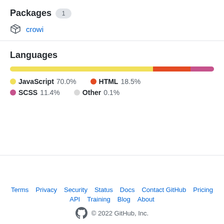Packages 1
crowi
Languages
[Figure (stacked-bar-chart): Languages bar]
JavaScript 70.0%
HTML 18.5%
SCSS 11.4%
Other 0.1%
Terms  Privacy  Security  Status  Docs  Contact GitHub  Pricing  API  Training  Blog  About  © 2022 GitHub, Inc.